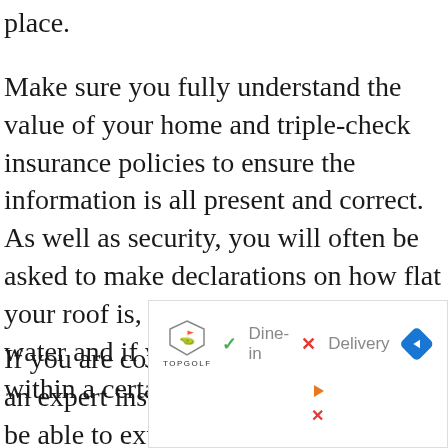place.
Make sure you fully understand the value of your home and triple-check insurance policies to ensure the information is all present and correct. As well as security, you will often be asked to make declarations on how flat your roof is, if you are close to the water and if you have a large tree within a certain distance of your home.
If you are confused, then consult with an expert insurance broker. They will be able to explain
[Figure (other): Advertisement overlay showing Topgolf logo with Dine-in (checkmark) and Delivery (X) options, a blue navigation diamond arrow, and small play/close buttons.]